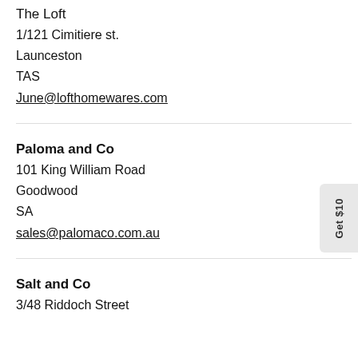The Loft
1/121 Cimitiere st.
Launceston
TAS
June@lofthomewares.com
Paloma and Co
101 King William Road
Goodwood
SA
sales@palomaco.com.au
Salt and Co
3/48 Riddoch Street